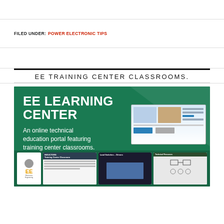FILED UNDER: POWER ELECTRONIC TIPS
EE TRAINING CENTER CLASSROOMS.
[Figure (illustration): EE Learning Center promotional banner. Green background with white bold text reading 'EE LEARNING CENTER' and subtitle 'An online technical education portal featuring training center classrooms.' Right side shows a screenshot of the portal. Bottom strip shows classroom cards including Inductors and Load Switches topics.]